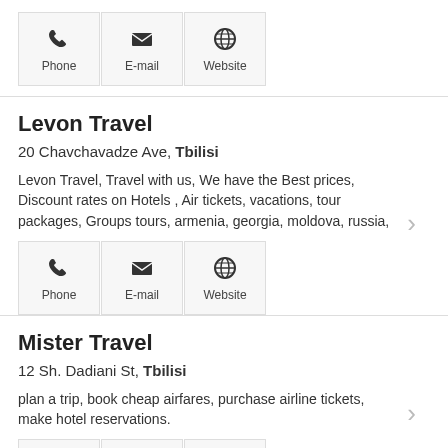[Figure (other): Contact buttons row: Phone, E-mail, Website icons]
Levon Travel
20 Chavchavadze Ave, Tbilisi
Levon Travel, Travel with us, We have the Best prices, Discount rates on Hotels , Air tickets, vacations, tour packages, Groups tours, armenia, georgia, moldova, russia,
[Figure (other): Contact buttons row: Phone, E-mail, Website icons]
Mister Travel
12 Sh. Dadiani St, Tbilisi
plan a trip, book cheap airfares, purchase airline tickets, make hotel reservations.
[Figure (other): Contact buttons row: Phone, E-mail, Website icons (partial)]